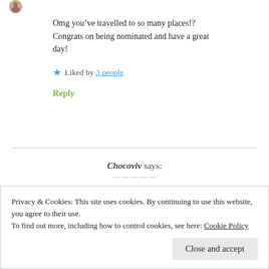[Figure (photo): Partial avatar/profile picture circle visible at top left corner]
Omg you’ve travelled to so many places!? Congrats on being nominated and have a great day!
★ Liked by 3 people
Reply
Chocoviv says:
Privacy & Cookies: This site uses cookies. By continuing to use this website, you agree to their use.
To find out more, including how to control cookies, see here: Cookie Policy
Close and accept